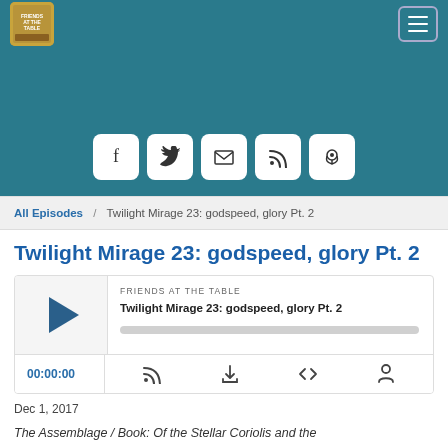[Figure (screenshot): Navigation bar with Friends at the Table podcast logo and hamburger menu button on teal background]
[Figure (screenshot): Teal banner with 5 social media icon buttons: Facebook, Twitter, Email, RSS, Podcast]
All Episodes / Twilight Mirage 23: godspeed, glory Pt. 2
Twilight Mirage 23: godspeed, glory Pt. 2
[Figure (screenshot): Audio player with play button, episode title 'Twilight Mirage 23: godspeed, glory Pt. 2', podcast name 'FRIENDS AT THE TABLE', progress bar, time display 00:00:00, and control icons]
Dec 1, 2017
The Assemblage / Book: Of the Stellar Coriolis and the